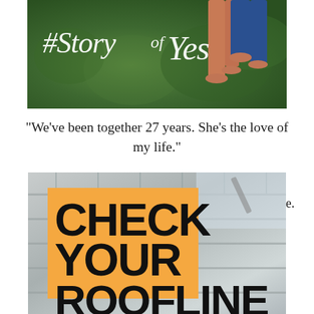[Figure (photo): Couple standing in greenery with '#StoryofYes' script text overlay in white italic]
“We’ve been together 27 years. She’s the love of my life.”
[Figure (logo): Zachary's Jewelers logo with ornate Z script mark]
Every #StoryofYes starts somewhere.
[Figure (photo): Roofing shingles close-up with orange box overlay and text CHECK YOUR ROOFLINE in bold black]